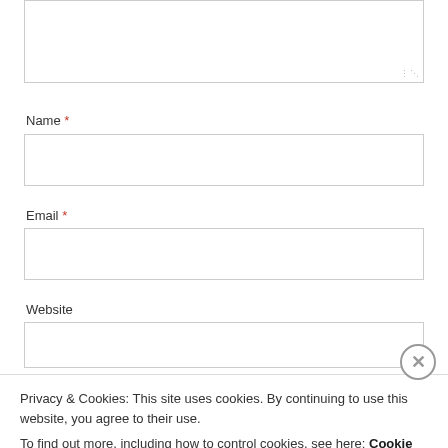[Figure (screenshot): Partially visible textarea form field at the top of the page with a resize handle in the bottom-right corner]
Name *
[Figure (screenshot): Empty text input field for Name]
Email *
[Figure (screenshot): Empty text input field for Email]
Website
[Figure (screenshot): Empty text input field for Website (partially visible)]
Privacy & Cookies: This site uses cookies. By continuing to use this website, you agree to their use.
To find out more, including how to control cookies, see here: Cookie Policy
Close and accept